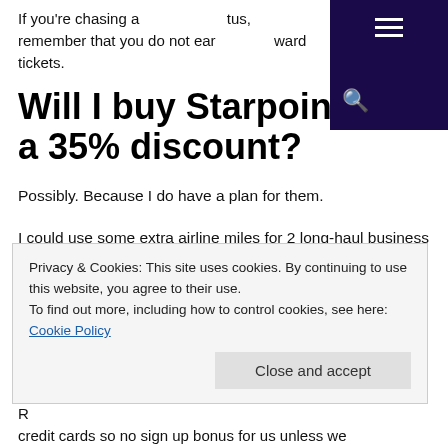If you're chasing a [nav] tus, remember that you do not ear [nav] ward tickets.
Will I buy Starpoints at a 35% discount?
Possibly.  Because I do have a plan for them.
I could use some extra airline miles for 2 long-haul business class tickets I'm trying to book later this year, will most likely use Alaska Airli...
Privacy & Cookies: This site uses cookies. By continuing to use this website, you agree to their use.
To find out more, including how to control cookies, see here:
Cookie Policy
Close and accept
R...
credit cards so no sign up bonus for us unless we